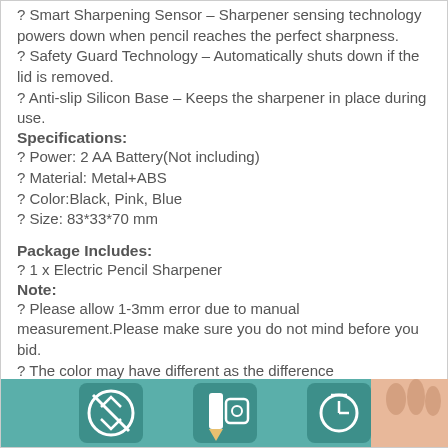? Smart Sharpening Sensor – Sharpener sensing technology powers down when pencil reaches the perfect sharpness.
? Safety Guard Technology – Automatically shuts down if the lid is removed.
? Anti-slip Silicon Base – Keeps the sharpener in place during use.
Specifications:
? Power: 2 AA Battery(Not including)
? Material: Metal+ABS
? Color:Black, Pink, Blue
? Size: 83*33*70 mm
Package Includes:
? 1 x Electric Pencil Sharpener
Note:
? Please allow 1-3mm error due to manual measurement.Please make sure you do not mind before you bid.
? The color may have different as the difference display,please understand.
[Figure (photo): Product image strip showing icons for electric pencil sharpener features and a hand holding the sharpener]